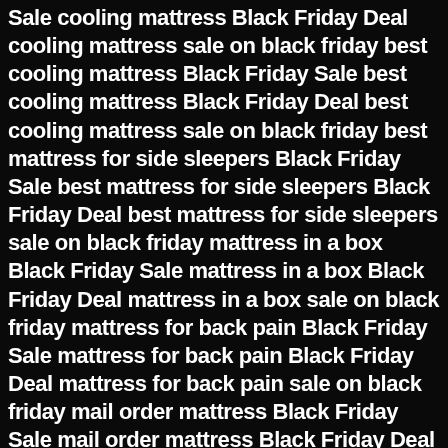Sale cooling mattress Black Friday Deal cooling mattress sale on black friday best cooling mattress Black Friday Sale best cooling mattress Black Friday Deal best cooling mattress sale on black friday best mattress for side sleepers Black Friday Sale best mattress for side sleepers Black Friday Deal best mattress for side sleepers sale on black friday mattress in a box Black Friday Sale mattress in a box Black Friday Deal mattress in a box sale on black friday mattress for back pain Black Friday Sale mattress for back pain Black Friday Deal mattress for back pain sale on black friday mail order mattress Black Friday Sale mail order mattress Black Friday Deal mail order mattress sale on black friday adjustable bed frame Black Friday Sale adjustable beds Black Friday Deal best black friday mattress deals best black friday mattress deals best black friday mattress deals 2021 best black friday mattress offers Best Black Friday Mattress Sale best black friday mattress sales best mattress black friday deals best mattress deals black friday black friday 2021